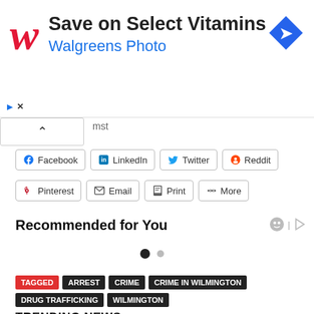[Figure (advertisement): Walgreens ad banner: Red cursive W logo, 'Save on Select Vitamins' headline, 'Walgreens Photo' subtitle in blue, blue diamond navigation icon on right]
mst
Facebook | LinkedIn | Twitter | Reddit | Pinterest | Email | Print | More
Recommended for You
TAGGED ARREST CRIME CRIME IN WILMINGTON DRUG TRAFFICKING WILMINGTON
TRENDING NEWS